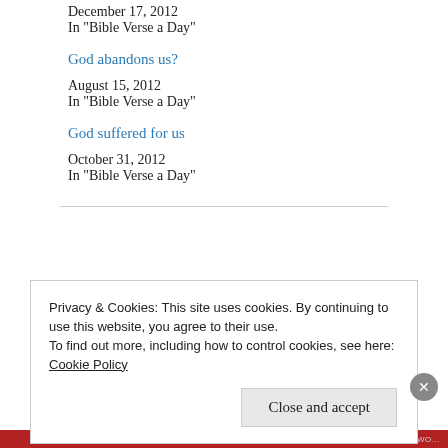December 17, 2012
In "Bible Verse a Day"
God abandons us?
August 15, 2012
In "Bible Verse a Day"
God suffered for us
October 31, 2012
In "Bible Verse a Day"
Privacy & Cookies: This site uses cookies. By continuing to use this website, you agree to their use.
To find out more, including how to control cookies, see here:
Cookie Policy
Close and accept